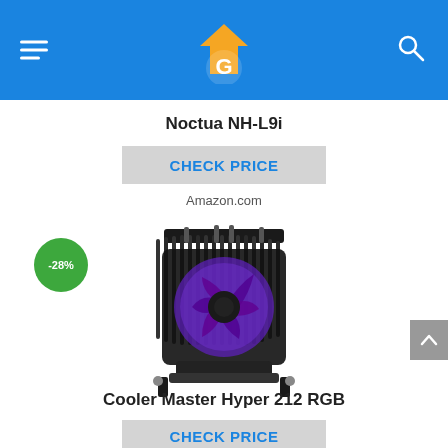Navigation header with logo, hamburger menu, and search icon
Noctua NH-L9i
CHECK PRICE
Amazon.com
[Figure (photo): Cooler Master Hyper 212 RGB CPU cooler with purple RGB fan glow, black heatsink fins and tower design. A green -28% discount badge is shown to the left.]
Cooler Master Hyper 212 RGB
CHECK PRICE